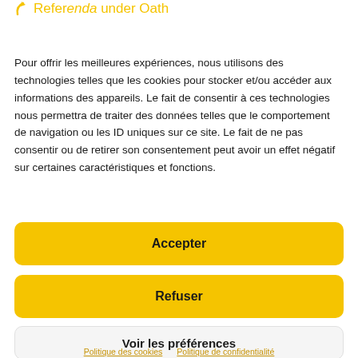Referenda under Oath
Pour offrir les meilleures expériences, nous utilisons des technologies telles que les cookies pour stocker et/ou accéder aux informations des appareils. Le fait de consentir à ces technologies nous permettra de traiter des données telles que le comportement de navigation ou les ID uniques sur ce site. Le fait de ne pas consentir ou de retirer son consentement peut avoir un effet négatif sur certaines caractéristiques et fonctions.
Accepter
Refuser
Voir les préférences
Politique des cookies   Politique de confidentialité